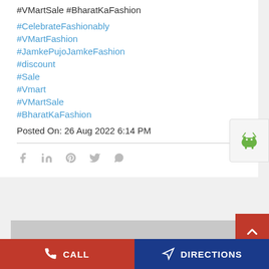#VMartSale #BharatKaFashion
#CelebrateFashionably
#VMartFashion
#JamkePujoJamkeFashion
#discount
#Sale
#Vmart
#VMartSale
#BharatKaFashion
Posted On: 26 Aug 2022 6:14 PM
[Figure (other): Social share icons: Facebook, LinkedIn, Pinterest, Twitter, WhatsApp]
[Figure (logo): Android robot logo badge on right side]
[Figure (other): Gray placeholder image block]
[Figure (other): Back to top button (red with white chevron up arrow)]
CALL   DIRECTIONS